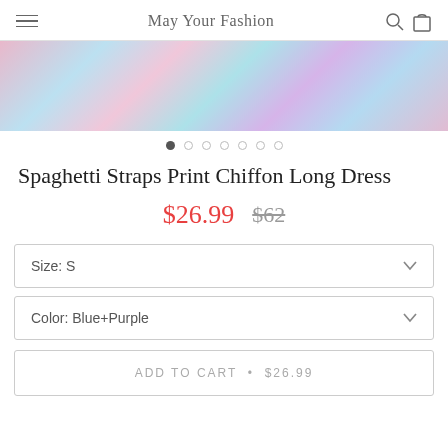May Your Fashion
[Figure (photo): Colorful tie-dye chiffon dress detail, showing blue, pink, purple, and green colors.]
Spaghetti Straps Print Chiffon Long Dress
$26.99  $62
Size: S
Color: Blue+Purple
ADD TO CART • $26.99